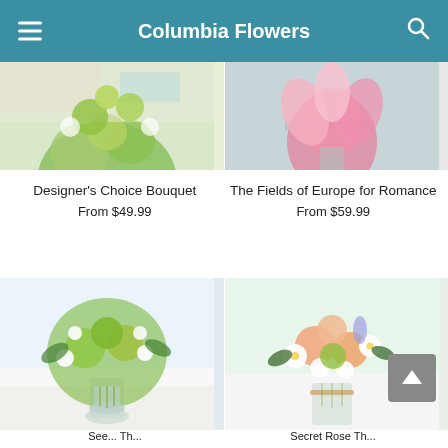Columbia Flowers
[Figure (photo): Partial top of Designer's Choice Bouquet product photo showing green floral arrangement on white background]
[Figure (photo): Partial top of The Fields of Europe for Romance product photo showing pink flower in glass vase]
Designer's Choice Bouquet
From $49.99
The Fields of Europe for Romance
From $59.99
[Figure (photo): Green and white flower bouquet in clear glass vase on white table]
[Figure (photo): Peach roses, white daisies and green carnations bouquet in clear glass vase]
See...  Th...
Secret Rose  Th...